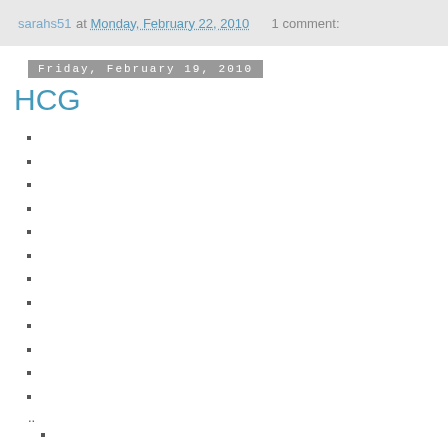sarahs51 at Monday, February 22, 2010    1 comment:
Friday, February 19, 2010
HCG
..